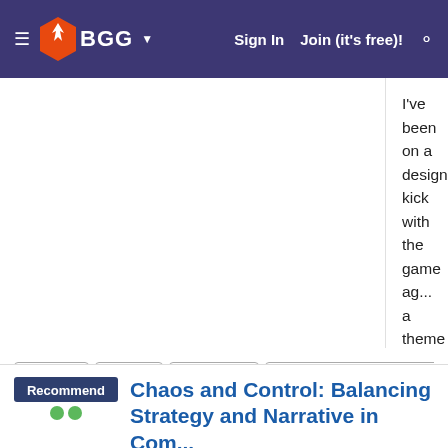BGG — Sign In  Join (it's free)!
I've been on a design kick with the game ag... a theme that clicks with the mechanics has b... engaged in the somewhat thankless task of... 90 or so known/suspected Illuminati memb... factions/suits they most align with, and pullin... together (picture, historical text, etc.). Once d... show off a more robust prototype for how i...
As always, please let me know your though... reactions, suggestions, or inspirations to sh...
Illuminati  Decktet  Hegemonic  Emissary: The Red Frontier  Pax Pami...  Series: Pax
Post Rolls   Tue Jul 6, 2
Chaos and Control: Balancing Strategy and Narrative in Com...